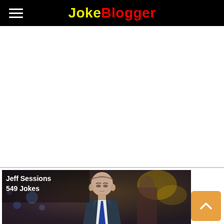JokeBlogger
[Figure (photo): White/blank advertisement area]
[Figure (photo): Jeff Sessions photo with overlay text reading 'Jeff Sessions 549 Jokes']
Jeff Sessions
549 Jokes